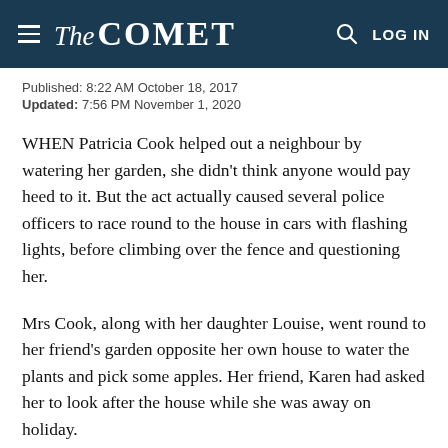The COMET — LOG IN
Published: 8:22 AM October 18, 2017
Updated: 7:56 PM November 1, 2020
WHEN Patricia Cook helped out a neighbour by watering her garden, she didn't think anyone would pay heed to it. But the act actually caused several police officers to race round to the house in cars with flashing lights, before climbing over the fence and questioning her.
Mrs Cook, along with her daughter Louise, went round to her friend's garden opposite her own house to water the plants and pick some apples. Her friend, Karen had asked her to look after the house while she was away on holiday.
But, according to the 67-year-old, two police cars with